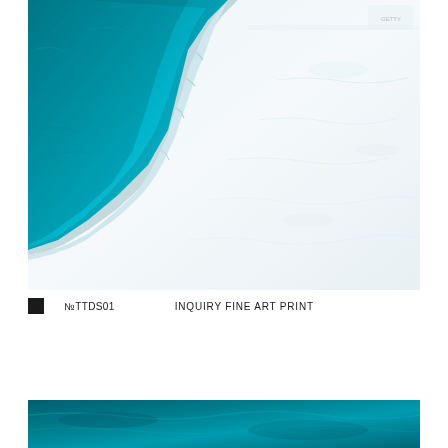[Figure (photo): Aerial view of turquoise blue ocean meeting a white snowy or sandy shoreline, photographed from above. The deep teal water occupies the upper-left portion and the bright white land/ice covers the right and lower portions.]
№TTDS01    INQUIRY FINE ART PRINT
[Figure (photo): Bottom strip of a second photograph showing turquoise blue water with a darker teal hue, partially visible at the bottom of the page.]